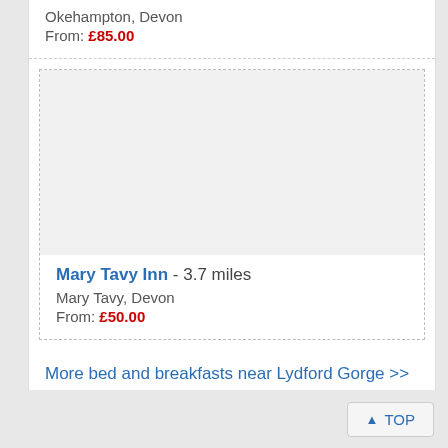Okehampton, Devon
From: £85.00
Mary Tavy Inn - 3.7 miles
Mary Tavy, Devon
From: £50.00
More bed and breakfasts near Lydford Gorge >>
TOP